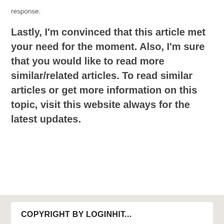Send your email and wait for some days to get any kind of response.
Lastly, I'm convinced that this article met your need for the moment. Also, I'm sure that you would like to read more similar/related articles. To read similar articles or get more information on this topic, visit this website always for the latest updates.
COPYRIGHT BY LOGINHIT...
Copyright.
All rights reserved.
This material and other digital content on this website may not be reproduced, republished, broadcast, rewritten or